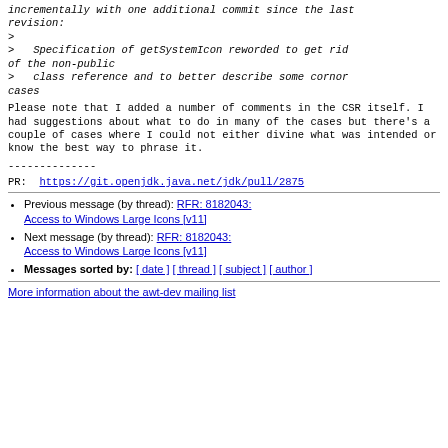incrementally with one additional commit since the last revision:
>
>   Specification of getSystemIcon reworded to get rid of the non-public
>   class reference and to better describe some cornor cases
Please note that I added a number of comments in the CSR itself.
I had suggestions about what to do in many of the cases but there's a couple of cases where
I could not either divine what was intended or know the best way to phrase it.
--------------
PR:  https://git.openjdk.java.net/jdk/pull/2875
Previous message (by thread): <AWT Dev> RFR: 8182043: Access to Windows Large Icons [v11]
Next message (by thread): <AWT Dev> RFR: 8182043: Access to Windows Large Icons [v11]
Messages sorted by: [ date ] [ thread ] [ subject ] [ author ]
More information about the awt-dev mailing list